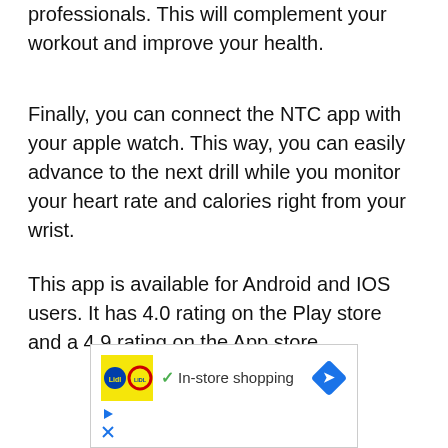professionals. This will complement your workout and improve your health.
Finally, you can connect the NTC app with your apple watch. This way, you can easily advance to the next drill while you monitor your heart rate and calories right from your wrist.
This app is available for Android and IOS users. It has 4.0 rating on the Play store and a 4.9 rating on the App store.
[Figure (other): Advertisement banner showing Lidl logo with checkmark and 'In-store shopping' text, blue diamond arrow icon on the right, with play and close icons below]